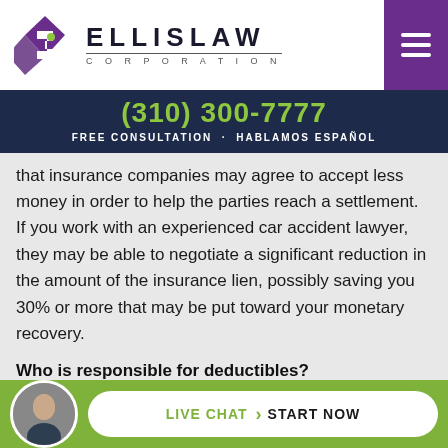[Figure (logo): Ellis Law Corporation logo with purple geometric diamond shape and text ELLISLAW CORPORATION]
(310) 300-7777
FREE CONSULTATION · HABLAMOS ESPAÑOL
that insurance companies may agree to accept less money in order to help the parties reach a settlement. If you work with an experienced car accident lawyer, they may be able to negotiate a significant reduction in the amount of the insurance lien, possibly saving you 30% or more that may be put toward your monetary recovery.
Who is responsible for deductibles?
[Figure (photo): Circular avatar photo of a man in a suit used in the live chat button area]
LIVE CHAT › START NOW